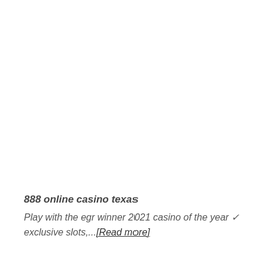888 online casino texas
Play with the egr winner 2021 casino of the year ✓ exclusive slots,...[Read more]